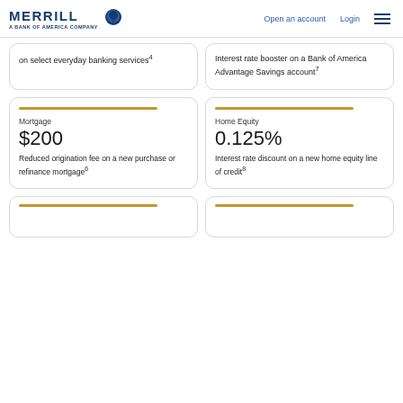Merrill — A Bank of America Company | Open an account | Login
on select everyday banking services⁴
Interest rate booster on a Bank of America Advantage Savings account⁷
Mortgage
$200
Reduced origination fee on a new purchase or refinance mortgage⁶
Home Equity
0.125%
Interest rate discount on a new home equity line of credit⁸